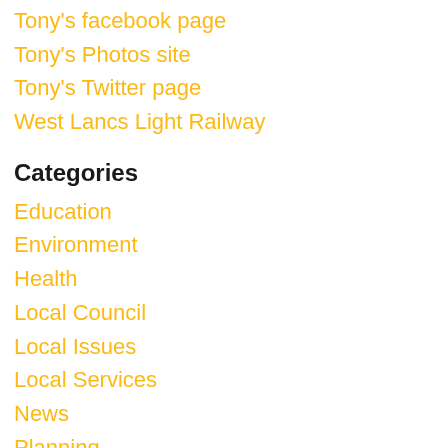Tony's facebook page
Tony's Photos site
Tony's Twitter page
West Lancs Light Railway
Categories
Education
Environment
Health
Local Council
Local Issues
Local Services
News
Planning
Transport
Login to the site
Site RSS feed